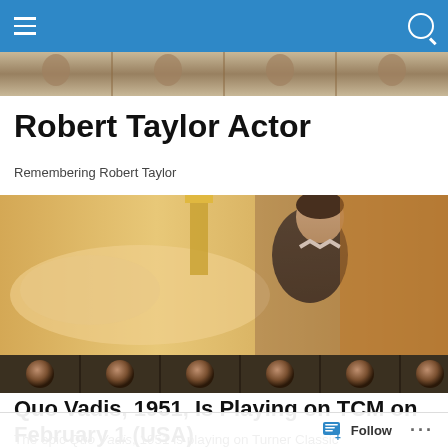Robert Taylor Actor — navigation bar
[Figure (photo): Top decorative filmstrip header with repeated images]
Robert Taylor Actor
Remembering Robert Taylor
[Figure (photo): Hero image showing a scene from Quo Vadis 1951, a man in Roman costume leaning over a reclining woman]
[Figure (photo): Bottom filmstrip strip with repeated face portraits of Robert Taylor]
Quo Vadis, 1951, Is Playing on TCM on February 1 (USA)
The epic Quo Vadis, 1951 is playing on Turner Classic